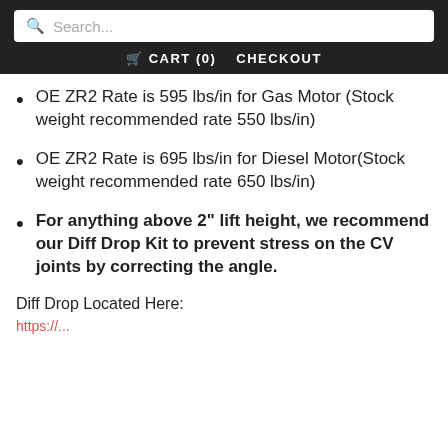Search... | CART (0) CHECKOUT
OE ZR2 Rate is 595 lbs/in for Gas Motor (Stock weight recommended rate 550 lbs/in)
OE ZR2 Rate is 695 lbs/in for Diesel Motor(Stock weight recommended rate 650 lbs/in)
For anything above 2" lift height, we recommend our Diff Drop Kit to prevent stress on the CV joints by correcting the angle.
Diff Drop Located Here:
https://...